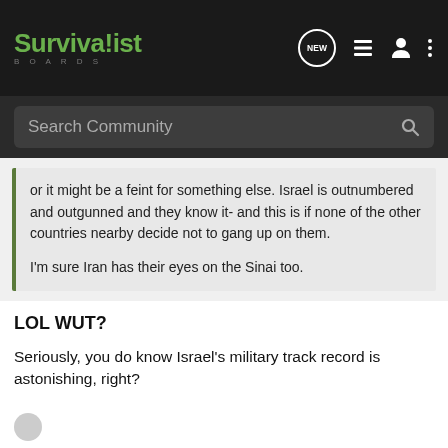Survivalist Boards
Search Community
or it might be a feint for something else. Israel is outnumbered and outgunned and they know it- and this is if none of the other countries nearby decide not to gang up on them.

I'm sure Iran has their eyes on the Sinai too.
LOL WUT?
Seriously, you do know Israel's military track record is astonishing, right?
OSCPJ
[Figure (photo): Advertisement banner showing a person aiming a rifle with text: DEFENDING YOUR FAMILY. DEFENDING YOUR HOME.»]